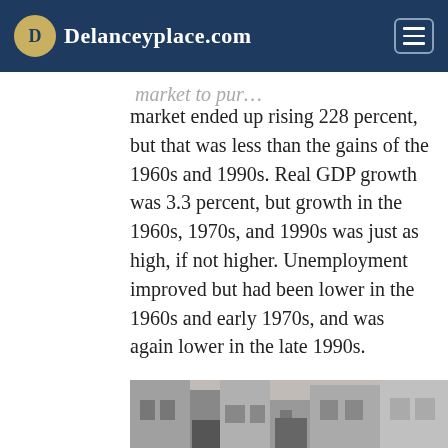Delanceyplace.com
market ended up rising 228 percent, but that was less than the gains of the 1960s and 1990s. Real GDP growth was 3.3 percent, but growth in the 1960s, 1970s, and 1990s was just as high, if not higher. Unemployment improved but had been lower in the 1960s and early 1970s, and was again lower in the late 1990s.
[Figure (photo): Black and white photograph of a building/street scene, partially visible at bottom of page]